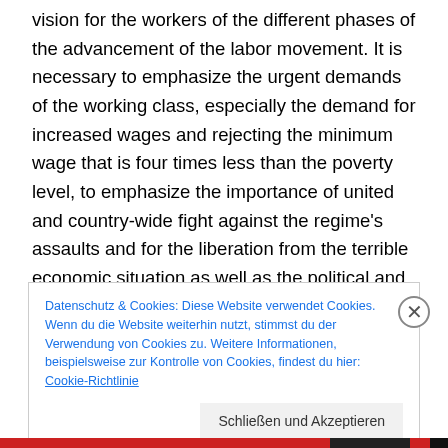vision for the workers of the different phases of the advancement of the labor movement. It is necessary to emphasize the urgent demands of the working class, especially the demand for increased wages and rejecting the minimum wage that is four times less than the poverty level, to emphasize the importance of united and country-wide fight against the regime's assaults and for the liberation from the terrible economic situation as well as the political and social limitations that have made life for the working class intolerable.
Datenschutz & Cookies: Diese Website verwendet Cookies. Wenn du die Website weiterhin nutzt, stimmst du der Verwendung von Cookies zu. Weitere Informationen, beispielsweise zur Kontrolle von Cookies, findest du hier: Cookie-Richtlinie
Schließen und Akzeptieren